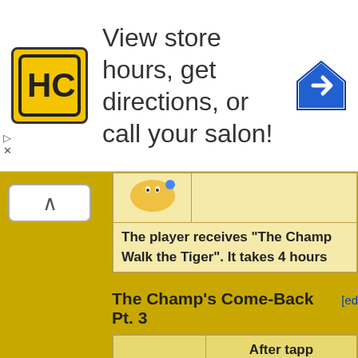[Figure (screenshot): Advertisement banner for a salon locator app: HC logo in yellow square, text 'View store hours, get directions, or call your salon!', blue diamond arrow icon on right]
[Figure (screenshot): Wiki page screenshot showing Simpsons Tapped Out game content. Upper portion shows a table row with a character icon and text 'The player receives "The Champ... Walk the Tiger". It takes 4 hours...' Section header 'The Champ's Come-Back Pt. 3 [ed...' followed by a table with column 'After tapp...' with Homer Simpson face row saying 'Ooh, n...' and a second character (boxer) row saying 'Homer Simpson! I...']
The player receives "The Champ... Walk the Tiger". It takes 4 hours...
The Champ's Come-Back Pt. 3
After tapp...
Ooh, n...
Homer Simpson! I...